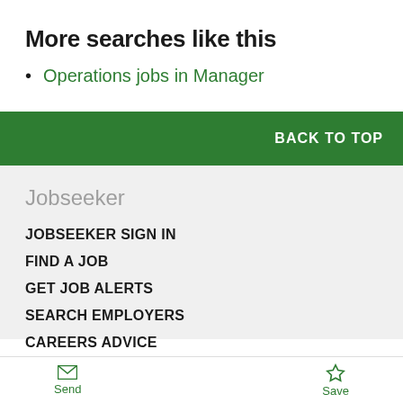More searches like this
Operations jobs in Manager
BACK TO TOP
Jobseeker
JOBSEEKER SIGN IN
FIND A JOB
GET JOB ALERTS
SEARCH EMPLOYERS
CAREERS ADVICE
Send   Save